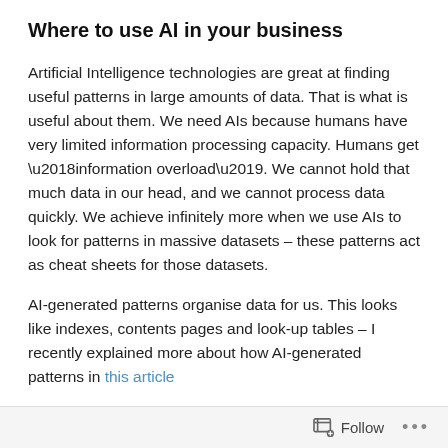Where to use AI in your business
Artificial Intelligence technologies are great at finding useful patterns in large amounts of data. That is what is useful about them. We need AIs because humans have very limited information processing capacity. Humans get ‘information overload’. We cannot hold that much data in our head, and we cannot process data quickly. We achieve infinitely more when we use AIs to look for patterns in massive datasets – these patterns act as cheat sheets for those datasets.
AI-generated patterns organise data for us. This looks like indexes, contents pages and look-up tables – I recently explained more about how AI-generated patterns in this article
Follow ...